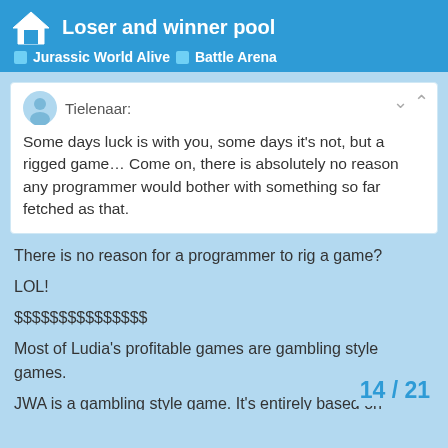Loser and winner pool — Jurassic World Alive › Battle Arena
Tielenaar: Some days luck is with you, some days it's not, but a rigged game… Come on, there is absolutely no reason any programmer would bother with something so far fetched as that.
There is no reason for a programmer to rig a game?
LOL!
$$$$$$$$$$$$$$$
Most of Ludia's profitable games are gambling style games.
JWA is a gambling style game. It's entirely based on chance.
You don't get to pick your dinos. You don't pick your opponent. You don't pick your opponents dinos. Add chance.
14 / 21